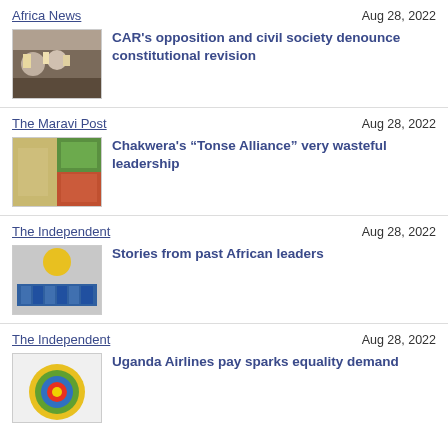Africa News — Aug 28, 2022
[Figure (photo): Protest crowd with signs]
CAR's opposition and civil society denounce constitutional revision
The Maravi Post — Aug 28, 2022
[Figure (photo): Mixed collage image with colorful scenes]
Chakwera’s “Tonse Alliance” very wasteful leadership
The Independent — Aug 28, 2022
[Figure (photo): Group of people in blue uniforms in front of a yellow emblem]
Stories from past African leaders
The Independent — Aug 28, 2022
[Figure (photo): Circular diagram with concentric rings in yellow, green, blue]
Uganda Airlines pay sparks equality demand